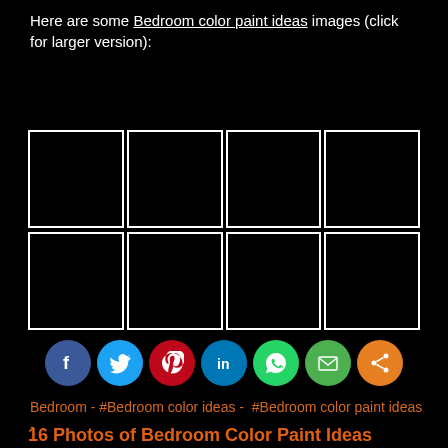Here are some Bedroom color paint ideas images (click for larger version):
[Figure (other): 2x4 grid of 8 black thumbnail image placeholders with white borders]
[Figure (infographic): Row of 7 social media share buttons: Facebook (blue), Twitter (light blue), Pinterest (red), LinkedIn (blue), WhatsApp (green), Email (green), Share (orange)]
Bedroom - #Bedroom color ideas -  #Bedroom color paint ideas -
16 Photos of Bedroom Color Paint Ideas